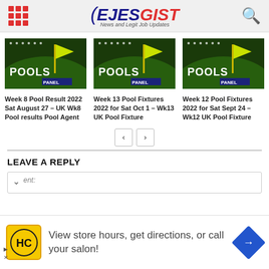EJESGIST — News and Legit Job Updates
[Figure (photo): Pools Panel football corner flag stadium image - card 1]
Week 8 Pool Result 2022 Sat August 27 – UK Wk8 Pool results Pool Agent
[Figure (photo): Pools Panel football corner flag stadium image - card 2]
Week 13 Pool Fixtures 2022 for Sat Oct 1 – Wk13 UK Pool Fixture
[Figure (photo): Pools Panel football corner flag stadium image - card 3]
Week 12 Pool Fixtures 2022 for Sat Sept 24 – Wk12 UK Pool Fixture
LEAVE A REPLY
Comment:
[Figure (infographic): Advertisement banner: HC logo, 'View store hours, get directions, or call your salon!' with direction arrow icon]